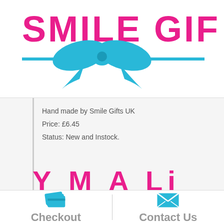[Figure (logo): Smile Gifts UK logo with pink text and teal/cyan bow-ribbon graphic with horizontal line]
Hand made by Smile Gifts UK
Price: £6.45
Status: New and Instock.
[Figure (illustration): Cropped pink/magenta navigation text partially visible at bottom of product area]
[Figure (illustration): Teal credit card icon above Checkout label]
Checkout
[Figure (illustration): Teal envelope/mail icon above Contact Us label]
Contact Us